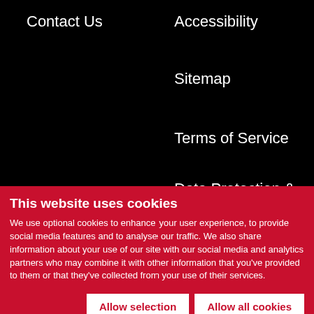Contact Us
Accessibility
Sitemap
Terms of Service
Data Protection & Privacy Statement
This website uses cookies
We use optional cookies to enhance your user experience, to provide social media features and to analyse our traffic. We also share information about your use of our site with our social media and analytics partners who may combine it with other information that you've provided to them or that they've collected from your use of their services.
Allow selection
Allow all cookies
Necessary  Preferences  Statistics  Marketing  Show details